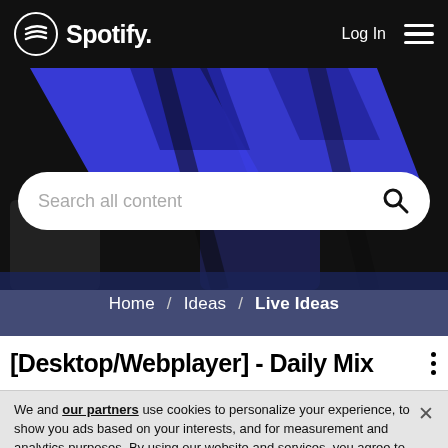Spotify — Log In
[Figure (screenshot): Spotify hero area with blue geometric shapes on dark background]
Search all content
Home / Ideas / Live Ideas
[Desktop/Webplayer] - Daily Mix
We and our partners use cookies to personalize your experience, to show you ads based on your interests, and for measurement and analytics purposes. By using our website and services, you agree to our use of cookies as described in our Cookie Policy.